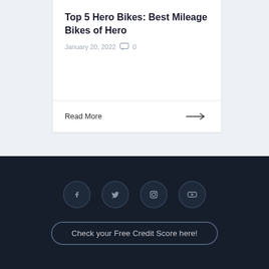Top 5 Hero Bikes: Best Mileage Bikes of Hero
January 20, 2022   0
Read More →
[Figure (other): Social media icons: Facebook, Twitter, Instagram, YouTube in dark circular buttons]
Check your Free Credit Score here!